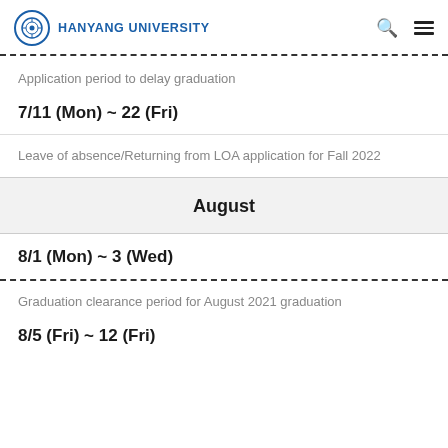HANYANG UNIVERSITY
Application period to delay graduation
7/11 (Mon) ~ 22 (Fri)
Leave of absence/Returning from LOA application for Fall 2022
August
8/1 (Mon) ~ 3 (Wed)
Graduation clearance period for August 2021 graduation
8/5 (Fri) ~ 12 (Fri)